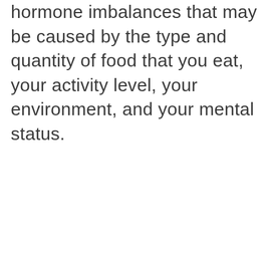hormone imbalances that may be caused by the type and quantity of food that you eat, your activity level, your environment, and your mental status.